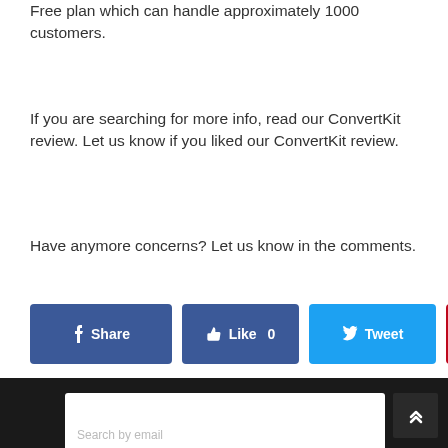Free plan which can handle approximately 1000 customers.
If you are searching for more info, read our ConvertKit review. Let us know if you liked our ConvertKit review.
Have anymore concerns? Let us know in the comments.
[Figure (screenshot): Social share buttons row: Facebook Share (dark blue), Like 0 (dark blue), Tweet (light blue), Pin it (red)]
[Figure (screenshot): Dark footer bar with white inner panel (comment form) and dark scroll-to-top button with chevron arrows]